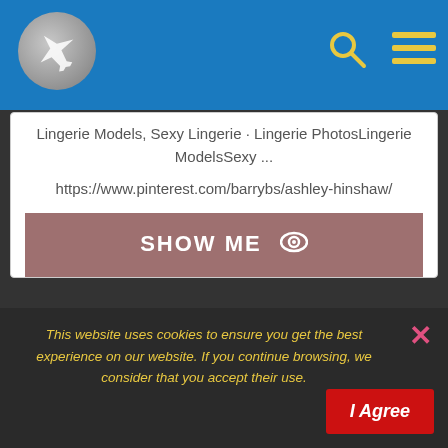[Figure (screenshot): Blue header bar with airplane logo circle on the left, search icon and hamburger menu icon on the right]
Lingerie Models, Sexy Lingerie · Lingerie PhotosLingerie ModelsSexy ...
https://www.pinterest.com/barrybs/ashley-hinshaw/
SHOW ME
118 Best mask for kids images | Mask for kids, Mask, Animal masks
This website uses cookies to ensure you get the best experience on our website. If you continue browsing, we consider that you accept their use.
I Agree